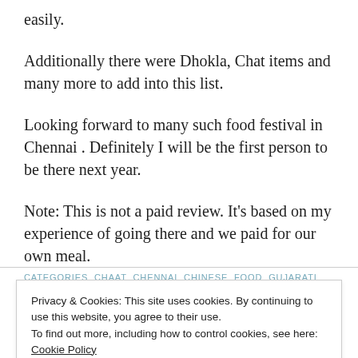easily.
Additionally there were Dhokla, Chat items and many more to add into this list.
Looking forward to many such food festival in Chennai . Definitely I will be the first person to be there next year.
Note: This is not a paid review. It’s based on my experience of going there and we paid for our own meal.
CATEGORIES  CHAAT  CHENNAI  CHINESE  FOOD  GUJARATI
Privacy & Cookies: This site uses cookies. By continuing to use this website, you agree to their use.
To find out more, including how to control cookies, see here:
Cookie Policy
Close and accept